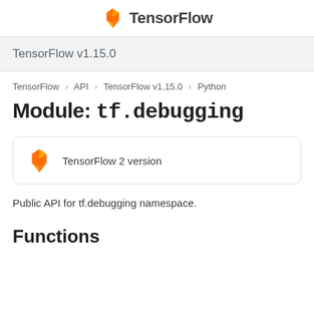TensorFlow
TensorFlow v1.15.0
TensorFlow > API > TensorFlow v1.15.0 > Python
Module: tf.debugging
[Figure (logo): TensorFlow logo with text 'TensorFlow 2 version' in a rounded box]
Public API for tf.debugging namespace.
Functions